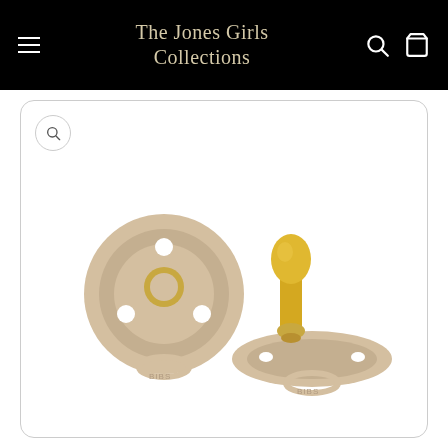The Jones Girls Collections
[Figure (photo): Two BIBS brand baby pacifiers in beige/vanilla color with yellow natural rubber nipples. One pacifier shown from the front face view, one shown from the side profile view.]